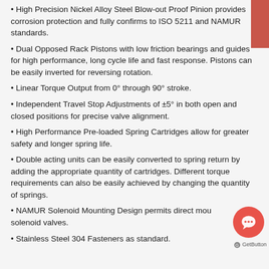High Precision Nickel Alloy Steel Blow-out Proof Pinion provides corrosion protection and fully confirms to ISO 5211 and NAMUR standards.
Dual Opposed Rack Pistons with low friction bearings and guides for high performance, long cycle life and fast response. Pistons can be easily inverted for reversing rotation.
Linear Torque Output from 0° through 90° stroke.
Independent Travel Stop Adjustments of ±5° in both open and closed positions for precise valve alignment.
High Performance Pre-loaded Spring Cartridges allow for greater safety and longer spring life.
Double acting units can be easily converted to spring return by adding the appropriate quantity of cartridges. Different torque requirements can also be easily achieved by changing the quantity of springs.
NAMUR Solenoid Mounting Design permits direct mounting of solenoid valves.
Stainless Steel 304 Fasteners as standard.